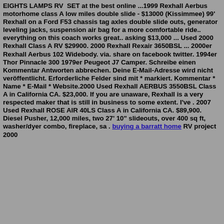EIGHTS LAMPS RV SET at the best online ...1999 Rexhall Aerbus motorhome class A low miles double slide - $13000 (Kissimmee) 99' Rexhall on a Ford F53 chassis tag axles double slide outs, generator leveling jacks, suspension air bag for a more comfortable ride.. everything on this coach works great.. asking $13,000 ... Used 2000 Rexhall Class A RV $29900. 2000 Rexhall Rexair 3650BSL ... 2000er Rexhall Aerbus 102 Widebody. via. share on facebook twitter. 1994er Thor Pinnacle 300 1979er Peugeot J7 Camper. Schreibe einen Kommentar Antworten abbrechen. Deine E-Mail-Adresse wird nicht veröffentlicht. Erforderliche Felder sind mit * markiert. Kommentar * Name * E-Mail * Website.2000 Used Rexhall AERBUS 3550BSL Class A in California CA. $23,000. If you are unaware, Rexhall is a very respected maker that is still in business to some extent. I've . 2007 Used Rexhall ROSE AIR 40LS Class A in California CA. $89,900. Diesel Pusher, 12,000 miles, two 27' 10" slideouts, over 400 sq ft, washer/dyer combo, fireplace, sa . buying a barratt home RV project 2000